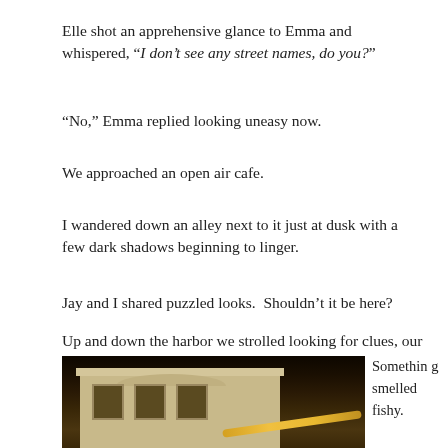Elle shot an apprehensive glance to Emma and whispered, “I don’t see any street names, do you?”
“No,” Emma replied looking uneasy now.
We approached an open air cafe.
I wandered down an alley next to it just at dusk with a few dark shadows beginning to linger.
Jay and I shared puzzled looks.  Shouldn’t it be here?
Up and down the harbor we strolled looking for clues, our rolling suitcases trailing us like a shadow.
[Figure (photo): Nighttime photo of a historic building facade with arched windows, illuminated by warm golden street light against a dark sky.]
Something smelled fishy.